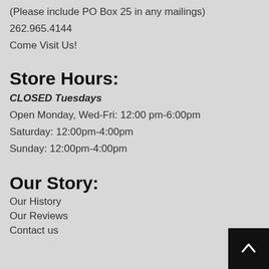(Please include PO Box 25 in any mailings)
262.965.4144
Come Visit Us!
Store Hours:
CLOSED Tuesdays
Open Monday, Wed-Fri: 12:00 pm-6:00pm
Saturday: 12:00pm-4:00pm
Sunday: 12:00pm-4:00pm
Our Story:
Our History
Our Reviews
Contact us